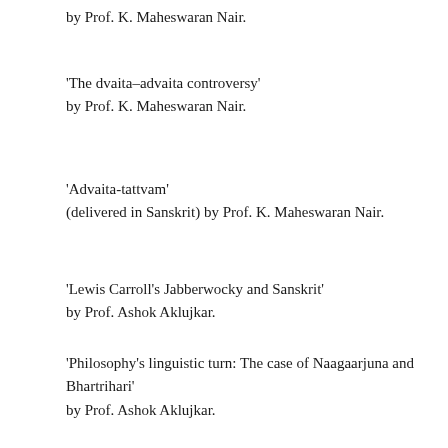by Prof. K. Maheswaran Nair.
‘The dvaita–advaita controversy’
by Prof. K. Maheswaran Nair.
‘Advaita-tattvam’
(delivered in Sanskrit) by Prof. K. Maheswaran Nair.
‘Lewis Carroll’s Jabberwocky and Sanskrit’
by Prof. Ashok Aklujkar.
‘Philosophy’s linguistic turn: The case of Naagaarjuna and Bhartrihari’
by Prof. Ashok Aklujkar.
‘Colonial knowledge, archaeological reconstructions: The discovery of the Hindu temple